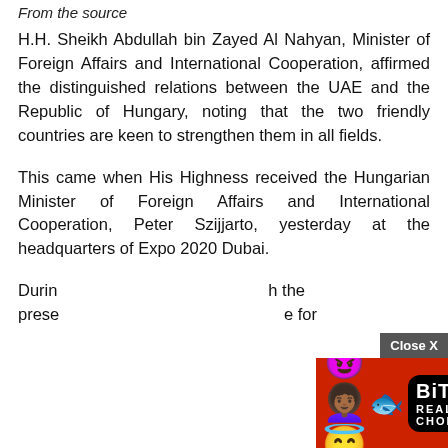From the source
H.H. Sheikh Abdullah bin Zayed Al Nahyan, Minister of Foreign Affairs and International Cooperation, affirmed the distinguished relations between the UAE and the Republic of Hungary, noting that the two friendly countries are keen to strengthen them in all fields.
This came when His Highness received the Hungarian Minister of Foreign Affairs and International Cooperation, Peter Szijjarto, yesterday at the headquarters of Expo 2020 Dubai.
During [ad overlay] the presence [ad overlay] for
[Figure (screenshot): Advertisement overlay: Close X button and BitLife Real Choices ad banner with emojis on red background]